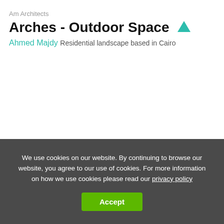Am Architects
Arches - Outdoor Space
Ahmed Majdy
Residential landscape based in Cairo
We use cookies on our website. By continuing to browse our website, you agree to our use of cookies. For more information on how we use cookies please read our privacy policy
Accept